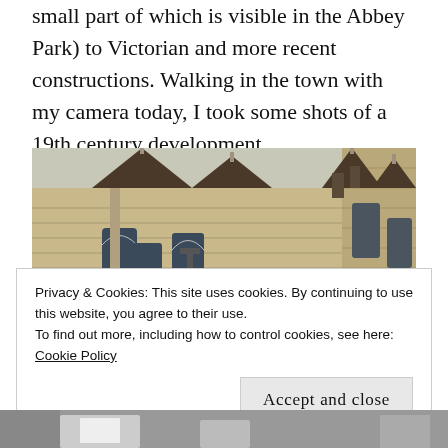small part of which is visible in the Abbey Park) to Victorian and more recent constructions. Walking in the town with my camera today, I took some shots of a 19th century development.
[Figure (photo): Photograph of a row of 19th century stone buildings with gothic-style architectural details, pointed gables, chimneys, and arched windows. The buildings are constructed from light tan/beige stone. A lamp post is visible in the foreground.]
Privacy & Cookies: This site uses cookies. By continuing to use this website, you agree to their use.
To find out more, including how to control cookies, see here:
Cookie Policy
Accept and close